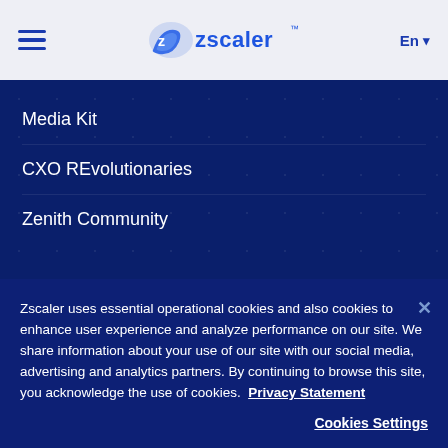Zscaler navigation header with hamburger menu, Zscaler logo, and En language selector
Media Kit
CXO REvolutionaries
Zenith Community
Zscaler uses essential operational cookies and also cookies to enhance user experience and analyze performance on our site. We share information about your use of our site with our social media, advertising and analytics partners. By continuing to browse this site, you acknowledge the use of cookies.  Privacy Statement
Cookies Settings